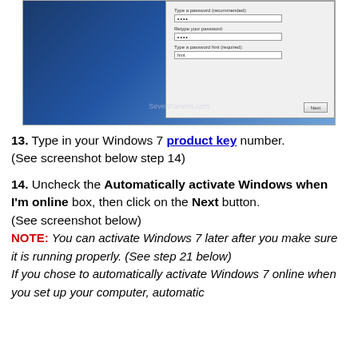[Figure (screenshot): Windows 7 password setup dialog screenshot with watermark 'SevenForums.com' and a Next button, shown on a blue desktop background]
13. Type in your Windows 7 product key number. (See screenshot below step 14)
14. Uncheck the Automatically activate Windows when I'm online box, then click on the Next button. (See screenshot below) NOTE: You can activate Windows 7 later after you make sure it is running properly. (See step 21 below) If you chose to automatically activate Windows 7 online when you set up your computer, automatic